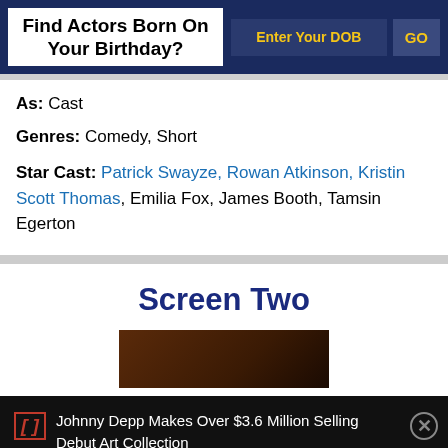Find Actors Born On Your Birthday?
As: Cast
Genres: Comedy, Short
Star Cast: Patrick Swayze, Rowan Atkinson, Kristin Scott Thomas, Emilia Fox, James Booth, Tamsin Egerton
Screen Two
[Figure (photo): Dark thumbnail image, likely a movie still with dark brown/black tones]
Johnny Depp Makes Over $3.6 Million Selling Debut Art Collection